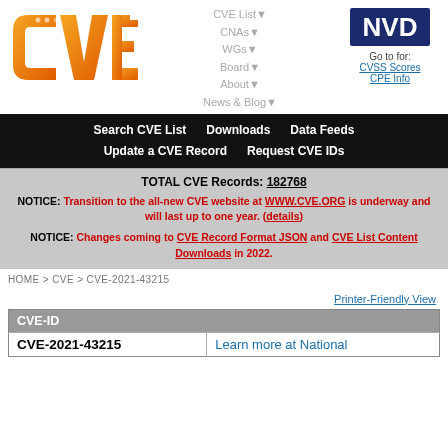[Figure (logo): CVE logo - orange gradient letters CVE with dot pattern]
CVE List▼ CNAs▼ WGs▼ Board▼ About▼ News & Blog▼
[Figure (logo): NVD logo - dark blue block letters NVD]
Go to for: CVSS Scores CPE Info
Search CVE List   Downloads   Data Feeds   Update a CVE Record   Request CVE IDs
TOTAL CVE Records: 182768
NOTICE: Transition to the all-new CVE website at WWW.CVE.ORG is underway and will last up to one year. (details)
NOTICE: Changes coming to CVE Record Format JSON and CVE List Content Downloads in 2022.
HOME > CVE > CVE-2021-43215
Printer-Friendly View
| CVE-ID |  |
| --- | --- |
| CVE-2021-43215 | Learn more at National |